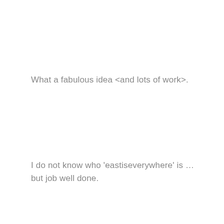What a fabulous idea <and lots of work>.
I do not know who 'eastiseverywhere' is … but job well done.